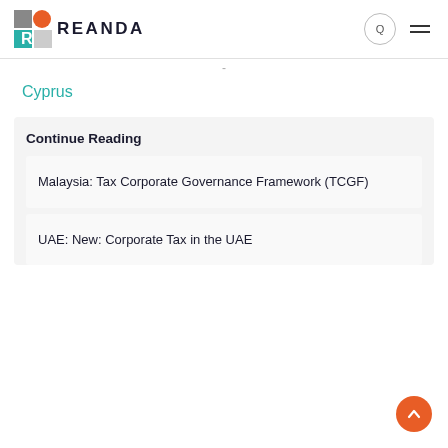[Figure (logo): Reanda logo with geometric R icon in grey, orange and teal, followed by bold text REANDA]
Cyprus
Continue Reading
Malaysia: Tax Corporate Governance Framework (TCGF)
UAE: New: Corporate Tax in the UAE